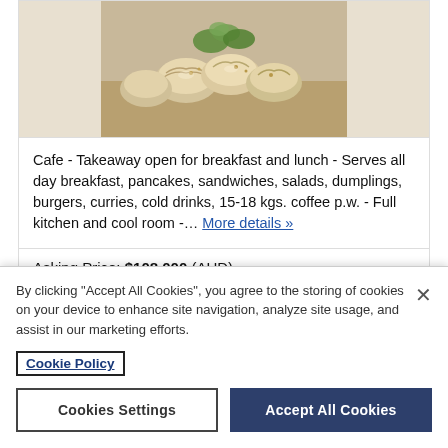[Figure (photo): Photo of dumplings/dim sum with green garnish on a plate]
Cafe - Takeaway open for breakfast and lunch - Serves all day breakfast, pancakes, sandwiches, salads, dumplings, burgers, curries, cold drinks, 15-18 kgs. coffee p.w. - Full kitchen and cool room -... More details »
Asking Price: $108,000 (AUD)
Revenue: $525,000 (AUD)
By clicking "Accept All Cookies", you agree to the storing of cookies on your device to enhance site navigation, analyze site usage, and assist in our marketing efforts.
Cookie Policy
Cookies Settings
Accept All Cookies